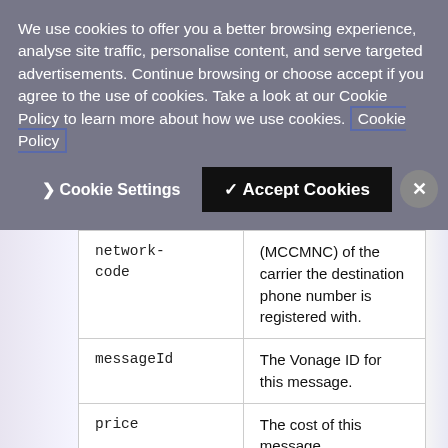We use cookies to offer you a better browsing experience, analyse site traffic, personalise content, and serve targeted advertisements. Continue browsing or choose accept if you agree to the use of cookies. Take a look at our Cookie Policy to learn more about how we use cookies. Cookie Policy
Cookie Settings | Accept Cookies | X
| Field | Description |
| --- | --- |
| network-code | (MCCMNC) of the carrier the destination phone number is registered with. |
| messageId | The Vonage ID for this message. |
| price | The cost of this message. |
| status | Will be one of: delivered, expired, failed, rejected, accepted, buffered or unknown based on where... |